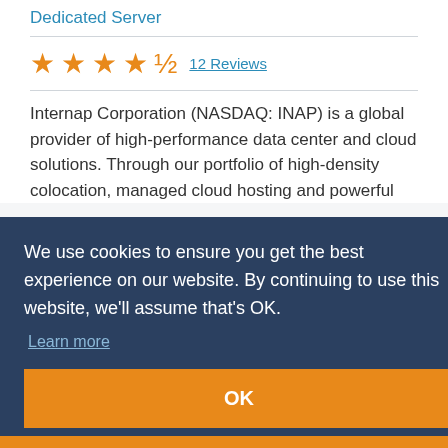Dedicated Server
★★★★½  12 Reviews
Internap Corporation (NASDAQ: INAP) is a global provider of high-performance data center and cloud solutions. Through our portfolio of high-density colocation, managed cloud hosting and powerful
We use cookies to ensure you get the best experience on our website. By continuing to use this website, we'll assume that's OK. Learn more
OK